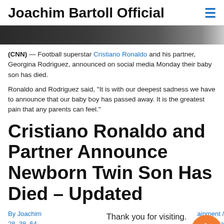Joachim Bartoll Official
[Figure (photo): Partial photo strip at top of article, dark toned image cropped to a thin horizontal strip]
(CNN) — Football superstar Cristiano Ronaldo and his partner, Georgina Rodriguez, announced on social media Monday their baby son has died.
Ronaldo and Rodriguez said, "It is with our deepest sadness we have to announce that our baby boy has passed away. It is the greatest pain that any parents can feel."
Cristiano Ronaldo and Partner Announce Newborn Twin Son Has Died – Updated
By Joachim  ...tainment / 28, 38, 64  Cristia... Ronaldo,   , Ki... Murder, N  ...aldo...
Thank you for visiting. You can now buy me a coffee!
Society of Jesus, Son, The Jesuit Order / 3 minutes of reading